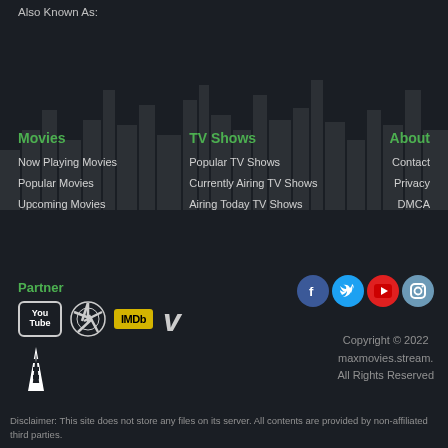Also Known As:
Movies
Now Playing Movies
Popular Movies
Upcoming Movies
TV Shows
Popular TV Shows
Currently Airing TV Shows
Airing Today TV Shows
About
Contact
Privacy
DMCA
Partner
[Figure (logo): YouTube, Aperture, IMDb, Vimeo, Flatiron partner logos]
[Figure (logo): Facebook, Twitter, YouTube, Instagram social media icons]
Copyright © 2022 maxmovies.stream. All Rights Reserved
Disclaimer: This site does not store any files on its server. All contents are provided by non-affiliated third parties.